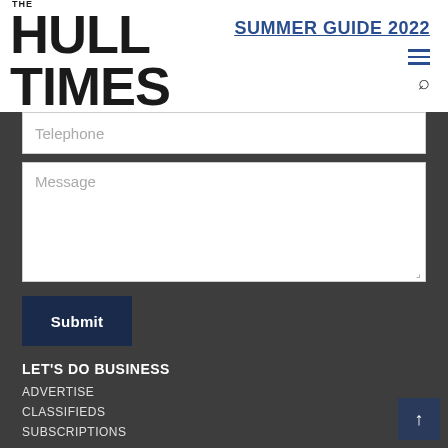THE HULL TIMES — SUMMER GUIDE 2022
Telephone
Message
Submit
LET'S DO BUSINESS
ADVERTISE
CLASSIFIEDS
SUBSCRIPTIONS